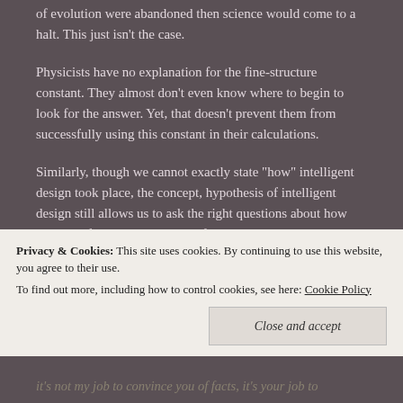of evolution were abandoned then science would come to a halt. This just isn't the case.
Physicists have no explanation for the fine-structure constant. They almost don't even know where to begin to look for the answer. Yet, that doesn't prevent them from successfully using this constant in their calculations.
Similarly, though we cannot exactly state "how" intelligent design took place, the concept, hypothesis of intelligent design still allows us to ask the right questions about how cellular life operates. Instead of expecting
Privacy & Cookies: This site uses cookies. By continuing to use this website, you agree to their use. To find out more, including how to control cookies, see here: Cookie Policy
it's not my job to convince you of facts, it's your job to